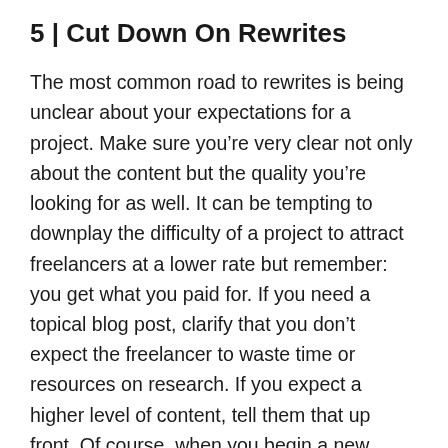5 | Cut Down On Rewrites
The most common road to rewrites is being unclear about your expectations for a project. Make sure you're very clear not only about the content but the quality you're looking for as well. It can be tempting to downplay the difficulty of a project to attract freelancers at a lower rate but remember: you get what you paid for. If you need a topical blog post, clarify that you don't expect the freelancer to waste time or resources on research. If you expect a higher level of content, tell them that up front. Of course, when you begin a new relationship with a freelancer or agency, it may take some